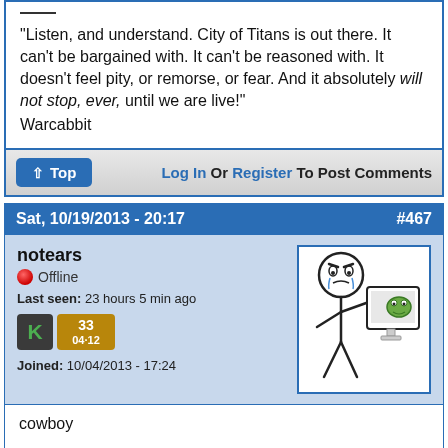"Listen, and understand. City of Titans is out there. It can't be bargained with. It can't be reasoned with. It doesn't feel pity, or remorse, or fear. And it absolutely will not stop, ever, until we are live!" Warcabbit
Log In Or Register To Post Comments
Sat, 10/19/2013 - 20:17   #467
notears
Offline
Last seen: 23 hours 5 min ago
Joined: 10/04/2013 - 17:24
[Figure (illustration): Stick figure cartoon of a crying character holding a monitor]
cowboy